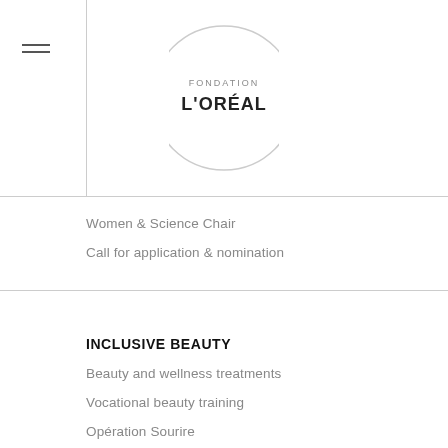[Figure (logo): Fondation L'Oréal circular logo with text FONDATION L'ORÉAL]
Women & Science Chair
Call for application & nomination
INCLUSIVE BEAUTY
Beauty and wellness treatments
Vocational beauty training
Opération Sourire